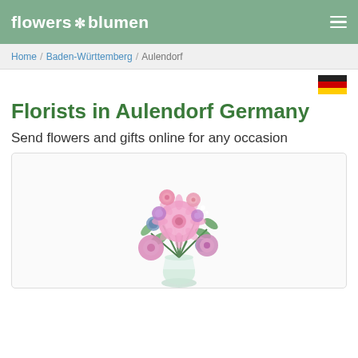flowers blumen
Home / Baden-Württemberg / Aulendorf
[Figure (illustration): German flag icon (black, red, gold horizontal stripes)]
Florists in Aulendorf Germany
Send flowers and gifts online for any occasion
[Figure (photo): A bouquet of pink and purple flowers including gerberas, chrysanthemums, roses, blue thistles and baby's breath in a glass vase]